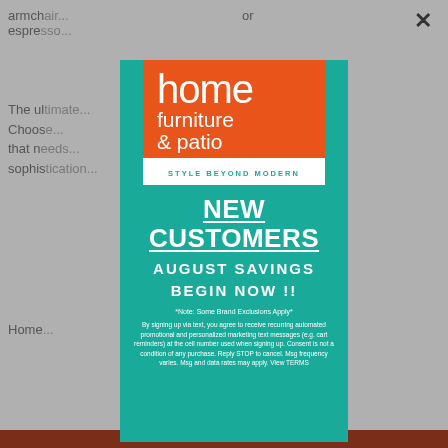armch... or espre...
The ul... place. Choos... lace that n... sophis...
Home...
[Figure (logo): Home Furniture & Patio logo — orange square with white text reading 'home furniture & patio' and white banner below reading 'STYLE BEYOND MODERN']
NEW CUSTOMERS
AUGUST SAVINGS
BEGIN NOW !!
*Note: Some Brand Exclusions Apply*
By signing up via text, you agree to receive recurring automated promotional and personalized marketing text messages (e.g. cart reminders) at the cell number used when signing up. Consent is not a condition of any purchase. Reply STOP to cancel. Msg frequency varies. Msg and data rates may apply. View TERMS